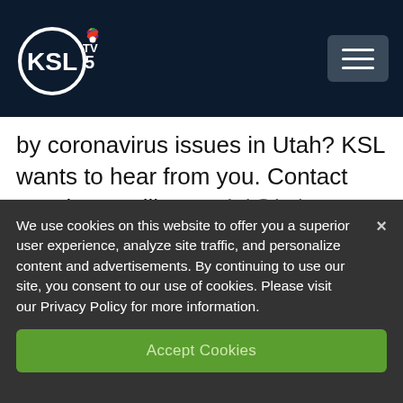[Figure (logo): KSL TV 5 NBC logo with peacock icon on dark navy header, hamburger menu button on right]
by coronavirus issues in Utah? KSL wants to hear from you. Contact KSL by emailing social@ksl.com.
What is COVID-19? Here's What You Need To Know To Stay
We use cookies on this website to offer you a superior user experience, analyze site traffic, and personalize content and advertisements. By continuing to use our site, you consent to our use of cookies. Please visit our Privacy Policy for more information.
Accept Cookies